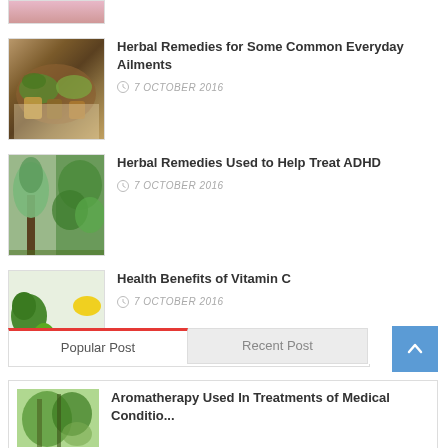[Figure (photo): Partially cropped image at top, pink/skin colored, cut off]
[Figure (photo): Herbs and spices arranged on white background with bowls]
Herbal Remedies for Some Common Everyday Ailments
7 OCTOBER 2016
[Figure (photo): Tree and green foliage collage]
Herbal Remedies Used to Help Treat ADHD
7 OCTOBER 2016
[Figure (photo): Vegetables and citrus fruits on white background]
Health Benefits of Vitamin C
7 OCTOBER 2016
Popular Post
Recent Post
[Figure (photo): Aromatherapy herbs and green plants]
Aromatherapy Used In Treatments of Medical Conditio...